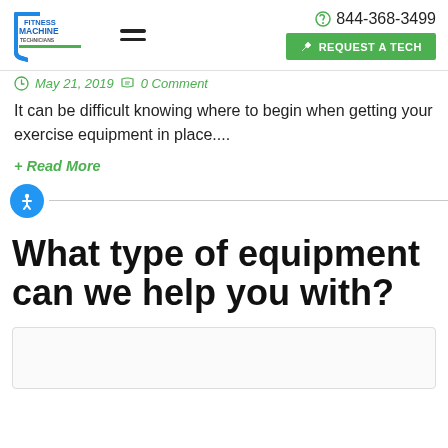[Figure (logo): Fitness Machine Technicians logo with blue shield/wrench icon and green underline, plus hamburger menu icon]
844-368-3499  REQUEST A TECH
May 21, 2019  0 Comment
It can be difficult knowing where to begin when getting your exercise equipment in place....
+ Read More
What type of equipment can we help you with?